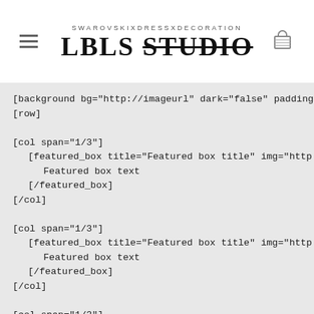SWAROVSKIXDRESSXDECORATION
LBLS STUDIO
[background bg="http://imageurl" dark="false" padding=*
[row]

[col span="1/3"]
    [featured_box title="Featured box title" img="http://
        Featured box text
    [/featured_box]
[/col]

[col span="1/3"]
    [featured_box title="Featured box title" img="http://
        Featured box text
    [/featured_box]
[/col]

[col span="1/3"]
    [featured_box title="Featured box title" img="http://
        Featured box text